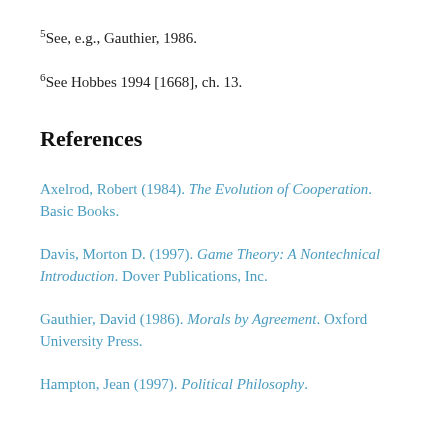5See, e.g., Gauthier, 1986.
6See Hobbes 1994 [1668], ch. 13.
References
Axelrod, Robert (1984). The Evolution of Cooperation. Basic Books.
Davis, Morton D. (1997). Game Theory: A Nontechnical Introduction. Dover Publications, Inc.
Gauthier, David (1986). Morals by Agreement. Oxford University Press.
Hampton, Jean (1997). Political Philosophy.